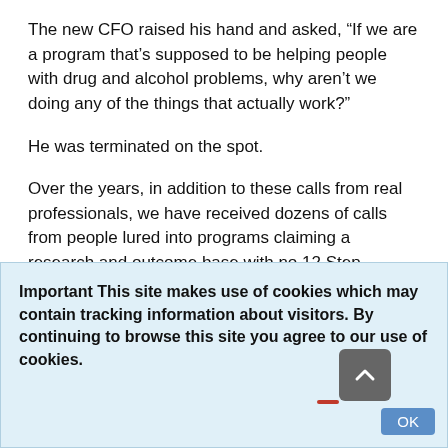The new CFO raised his hand and asked, “If we are a program that’s supposed to be helping people with drug and alcohol problems, why aren’t we doing any of the things that actually work?”
He was terminated on the spot.
Over the years, in addition to these calls from real professionals, we have received dozens of calls from people lured into programs claiming a research and outcome base with no 12 Step
Important This site makes use of cookies which may contain tracking information about visitors. By continuing to browse this site you agree to our use of cookies.